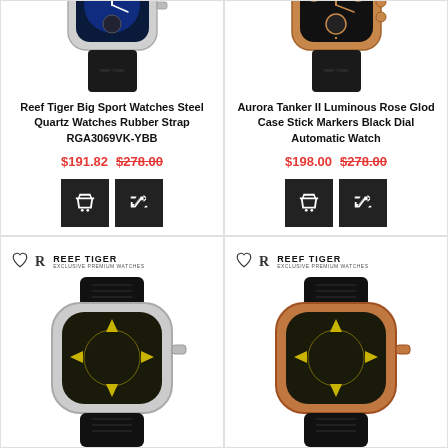[Figure (photo): Reef Tiger silver sport watch with blue dial and black rubber strap]
Reef Tiger Big Sport Watches Steel Quartz Watches Rubber Strap RGA3069VK-YBB
$191.82  $278.00
[Figure (photo): Aurora Tanker II rose gold case watch with black dial and black rubber strap]
Aurora Tanker II Luminous Rose Glod Case Stick Markers Black Dial Automatic Watch
$198.00  $278.00
[Figure (photo): Reef Tiger silver sport watch with yellow-green dial, bottom card left]
[Figure (photo): Reef Tiger rose gold sport watch with yellow-green dial, bottom card right]